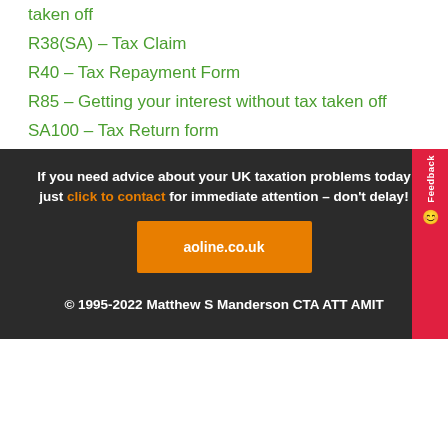taken off
R38(SA) – Tax Claim
R40 – Tax Repayment Form
R85 – Getting your interest without tax taken off
SA100 – Tax Return form
If you need advice about your UK taxation problems today just click to contact for immediate attention – don't delay!
[Figure (other): Orange button linking to aoline.co.uk]
© 1995-2022 Matthew S Manderson CTA ATT AMIT